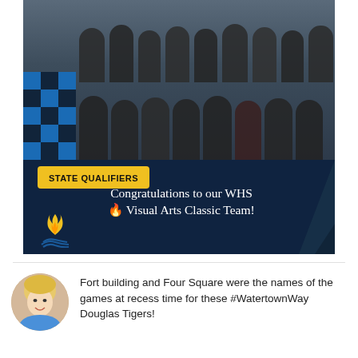[Figure (photo): Group photo of WHS Visual Arts Classic Team wearing matching dark hoodies labeled 'Watertown Visual Art 2022', posing in two rows. Over the photo is a dark navy banner with a yellow 'STATE QUALIFIERS' badge and white handwritten-style text reading 'Congratulations to our WHS Visual Arts Classic Team!' with a flame/logo on the lower left.]
Fort building and Four Square were the names of the games at recess time for these #WatertownWay Douglas Tigers!